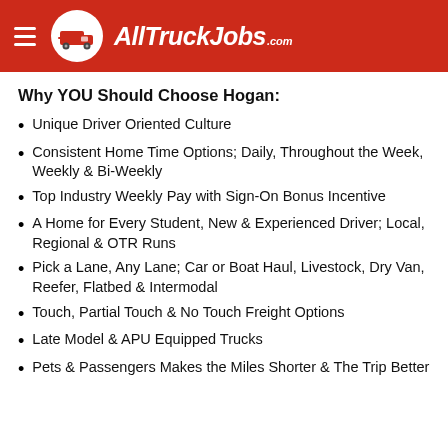AllTruckJobs.com
Why YOU Should Choose Hogan:
Unique Driver Oriented Culture
Consistent Home Time Options; Daily, Throughout the Week, Weekly & Bi-Weekly
Top Industry Weekly Pay with Sign-On Bonus Incentive
A Home for Every Student, New & Experienced Driver; Local, Regional & OTR Runs
Pick a Lane, Any Lane; Car or Boat Haul, Livestock, Dry Van, Reefer, Flatbed & Intermodal
Touch, Partial Touch & No Touch Freight Options
Late Model & APU Equipped Trucks
Pets & Passengers Makes the Miles Shorter & The Trip Better